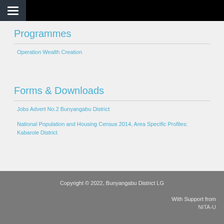≡
Programmes
Operation Wealth Creation
Forms & Downloads
Jobs Advert No.2 Bunyangabu District
National Population and Housing Census 2014, Area Specific Profiles: Kabarole District
Copyright © 2022, Bunyangabu District LG
With Support from
NITA-U